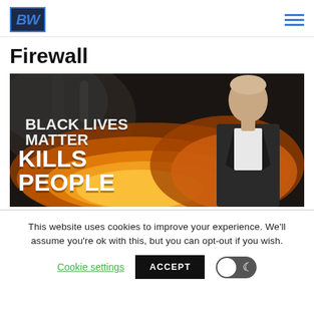BW [logo] | hamburger menu
Firewall
[Figure (photo): Thumbnail image showing a man in a dark suit against a fire/smoke background with bold text reading 'BLACK LIVES MATTER KILLS PEOPLE']
This website uses cookies to improve your experience. We'll assume you're ok with this, but you can opt-out if you wish.
Cookie settings  ACCEPT  [toggle]